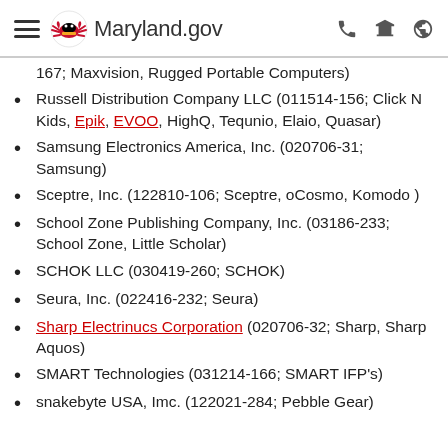Maryland.gov
167; Maxvision, Rugged Portable Computers)
Russell Distribution Company LLC (011514-156; Click N Kids, Epik, EVOO, HighQ, Tequnio, Elaio, Quasar)
Samsung Electronics America, Inc. (020706-31; Samsung)
Sceptre, Inc. (122810-106; Sceptre, oCosmo, Komodo )
School Zone Publishing Company, Inc. (03186-233; School Zone, Little Scholar)
SCHOK LLC (030419-260; SCHOK)
Seura, Inc. (022416-232; Seura)
Sharp Electrinucs Corporation (020706-32; Sharp, Sharp Aquos)
SMART Technologies (031214-166; SMART IFP's)
snakebyte USA, Imc. (122021-284; Pebble Gear)